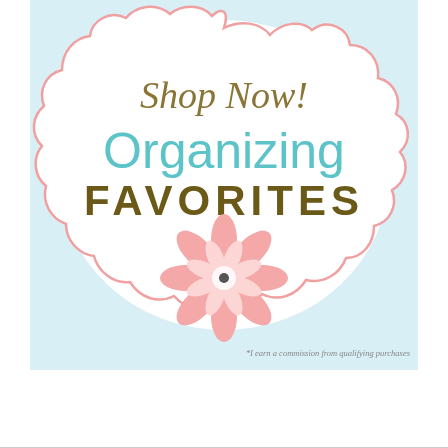[Figure (illustration): Decorative badge/label with light blue background and pink wavy scalloped border outline, containing the text 'Shop Now!', 'Organizing', 'FAVORITES', and a pink flower illustration in the center bottom.]
*I earn a commission from qualifying purchases